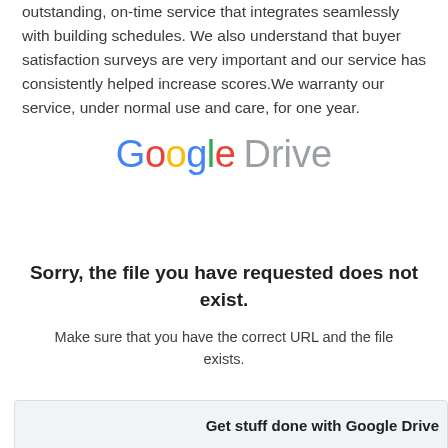outstanding, on-time service that integrates seamlessly with building schedules. We also understand that buyer satisfaction surveys are very important and our service has consistently helped increase scores.We warranty our service, under normal use and care, for one year.
[Figure (logo): Google Drive logo with colored Google wordmark and gray Drive text]
Sorry, the file you have requested does not exist.
Make sure that you have the correct URL and the file exists.
Get stuff done with Google Drive